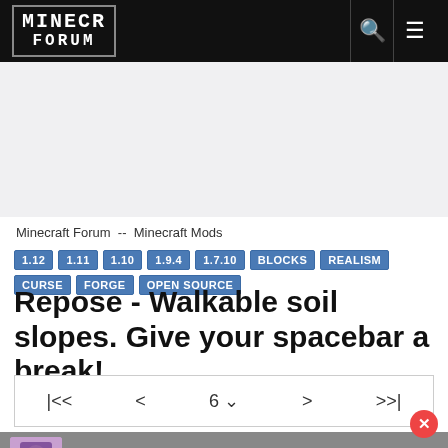Minecraft Forum
Minecraft Forum -- Minecraft Mods
1.12 1.11 1.10 1.9.4 1.7.10 BLOCKS REALISM CURSE FORGE OPEN SOURCE
Repose - Walkable soil slopes. Give your spacebar a break!
|<<  <  6v  >  >>|
Kilyle  Oct 4, 2015
Member Details